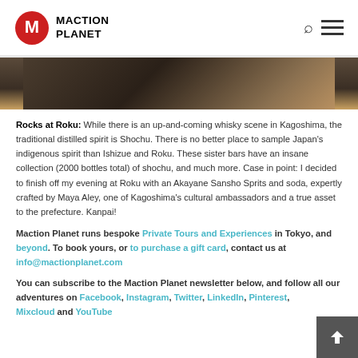MACTION PLANET
[Figure (photo): Dark photo strip showing a bar or restaurant interior with warm lighting]
Rocks at Roku: While there is an up-and-coming whisky scene in Kagoshima, the traditional distilled spirit is Shochu. There is no better place to sample Japan's indigenous spirit than Ishizue and Roku. These sister bars have an insane collection (2000 bottles total) of shochu, and much more. Case in point: I decided to finish off my evening at Roku with an Akayane Sansho Sprits and soda, expertly crafted by Maya Aley, one of Kagoshima's cultural ambassadors and a true asset to the prefecture. Kanpai!
Maction Planet runs bespoke Private Tours and Experiences in Tokyo, and beyond. To book yours, or to purchase a gift card, contact us at info@mactionplanet.com
You can subscribe to the Maction Planet newsletter below, and follow all our adventures on Facebook, Instagram, Twitter, LinkedIn, Pinterest, Mixcloud and YouTube